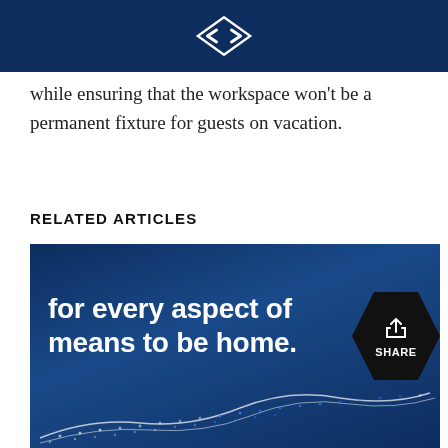[Logo]
while ensuring that the workspace won't be a permanent fixture for guests on vacation.
RELATED ARTICLES
[Figure (illustration): Dark navy blue promotional image with large white bold text reading 'for every aspect of means to be home.' overlaid on abstract dot wave pattern. A hexagonal SHARE button appears in the bottom right corner of the image.]